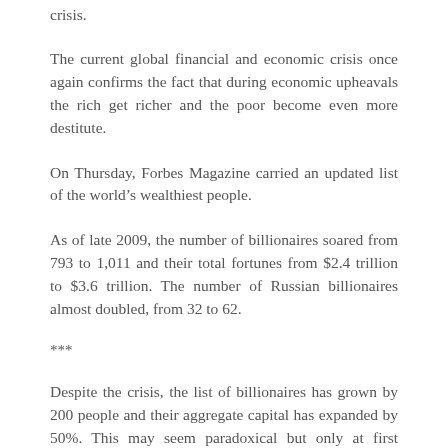crisis.
The current global financial and economic crisis once again confirms the fact that during economic upheavals the rich get richer and the poor become even more destitute.
On Thursday, Forbes Magazine carried an updated list of the world’s wealthiest people.
As of late 2009, the number of billionaires soared from 793 to 1,011 and their total fortunes from $2.4 trillion to $3.6 trillion. The number of Russian billionaires almost doubled, from 32 to 62.
***
Despite the crisis, the list of billionaires has grown by 200 people and their aggregate capital has expanded by 50%. This may seem paradoxical but only at first glance. This result was predictable, if we recall how governments all